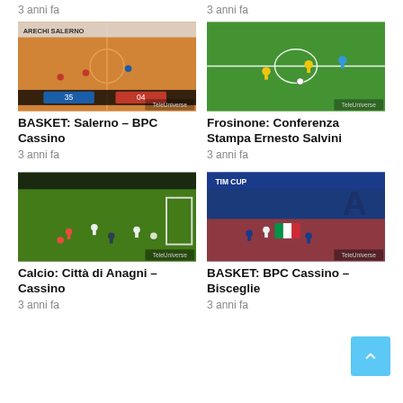3 anni fa
3 anni fa
[Figure (screenshot): Basketball game screenshot - BASKET: Salerno vs BPC Cassino, score 35-04, indoor basketball court]
[Figure (screenshot): Football/soccer game screenshot - Frosinone Conferenza Stampa Ernesto Salvini, players on green field]
BASKET: Salerno – BPC Cassino
Frosinone: Conferenza Stampa Ernesto Salvini
3 anni fa
3 anni fa
[Figure (screenshot): Calcio (football) game screenshot - Calcio: Città di Anagni – Cassino, indoor futsal court, green turf]
[Figure (screenshot): Basketball game screenshot - BASKET: BPC Cassino – Bisceglie, indoor basketball court with blue walls]
Calcio: Città di Anagni – Cassino
BASKET: BPC Cassino – Bisceglie
3 anni fa
3 anni fa